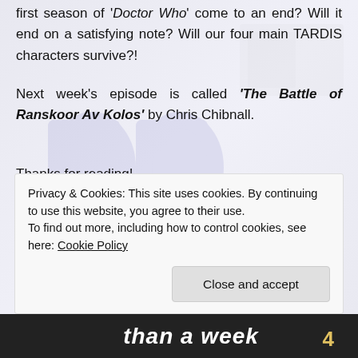first season of 'Doctor Who' come to an end? Will it end on a satisfying note? Will our four main TARDIS characters survive?!
Next week's episode is called 'The Battle of Ranskoor Av Kolos' by Chris Chibnall.
Thanks for reading!
Bye for now!
Tim. 🙂
Privacy & Cookies: This site uses cookies. By continuing to use this website, you agree to their use.
To find out more, including how to control cookies, see here: Cookie Policy
Close and accept
than a week